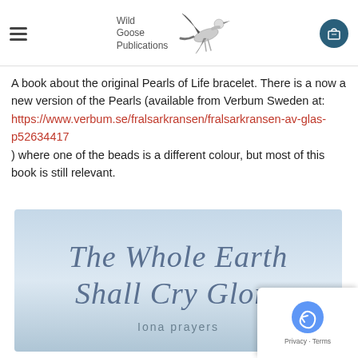Wild Goose Publications
A book about the original Pearls of Life bracelet. There is a now a new version of the Pearls (available from Verbum Sweden at: https://www.verbum.se/fralsarkransen/fralsarkransen-av-glas-p52634417 ) where one of the beads is a different colour, but most of this book is still relevant.
[Figure (illustration): Book cover showing 'The Whole Earth Shall Cry Glory - Iona prayers' on a light blue sky background]